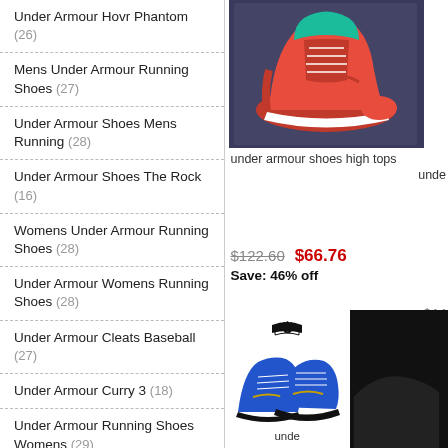Under Armour Hovr Phantom (26)
Mens Under Armour Running Shoes (27)
Under Armour Shoes Mens Running (28)
Under Armour Shoes The Rock (16)
Womens Under Armour Running Shoes (28)
Under Armour Womens Running Shoes (28)
Under Armour Cleats Baseball (27)
Under Armour Curry 3 (18)
Under Armour Running Shoes Womens (29)
Under Armour Running Shoes Mens (28)
Under Armour Mens Running Shoes (29)
Under Armour Shoes Running Mens (29)
[Figure (photo): Red Under Armour high top basketball shoe on dark background]
under armour shoes high tops
unde
$122.60  $66.76  Save: 46% off
$117...
[Figure (photo): Blue Under Armour Curry basketball shoes with Under Armour logo on white background]
unde
[Figure (photo): Partial dark image of another Under Armour shoe on black background]